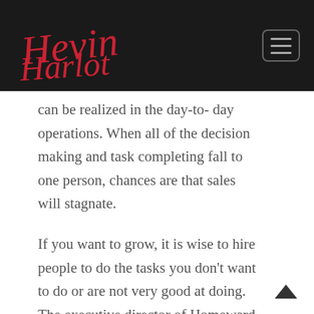[Logo signature] [Menu icon]
can be realized in the day-to- day operations. When all of the decision making and task completing fall to one person, chances are that sales will stagnate.
If you want to grow, it is wise to hire people to do the tasks you don't want to do or are not very good at doing. The executive director of Homeward